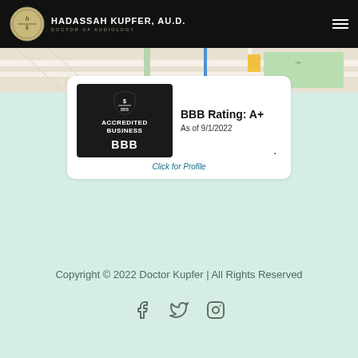HADASSAH KUPFER, AU.D. — DOCTOR OF AUDIOLOGY
[Figure (screenshot): Partial Google Maps view showing street map]
[Figure (logo): BBB Accredited Business badge with rating A+ as of 9/1/2022 and Click for Profile link]
Copyright © 2022 Doctor Kupfer | All Rights Reserved
[Figure (other): Social media icons: Facebook, Twitter, Instagram]